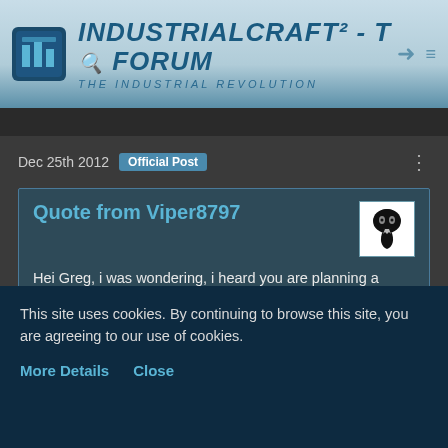IndustrialCraft² - The Forum · The Industrial Revolution
Dec 25th 2012   Official Post
Quote from Viper8797
Hei Greg, i was wondering, i heard you are planning a "mysticraft-dimensions-sorta-space", where you travel trough stargates to get to planets, but i was wondering, would it be possible to have compatibility with mods like the zeppelin mod or the ships and boats mod? So that player could build a multi-block spaceship, ride across a stargate and spawn on their spaceship on the max height above a planet.
This site uses cookies. By continuing to browse this site, you are agreeing to our use of cookies.
More Details   Close